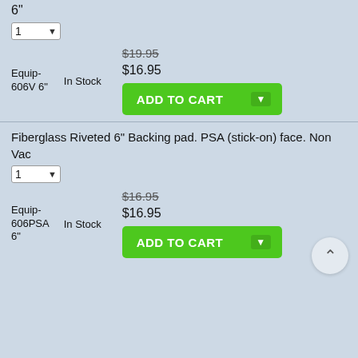6"
1 ▾
Equip-606V 6"  In Stock
$19.95 (strikethrough)
$16.95
ADD TO CART
Fiberglass Riveted 6" Backing pad. PSA (stick-on) face. Non Vac
1 ▾
Equip-606PSA 6"  In Stock
$16.95 (strikethrough)
$16.95
ADD TO CART